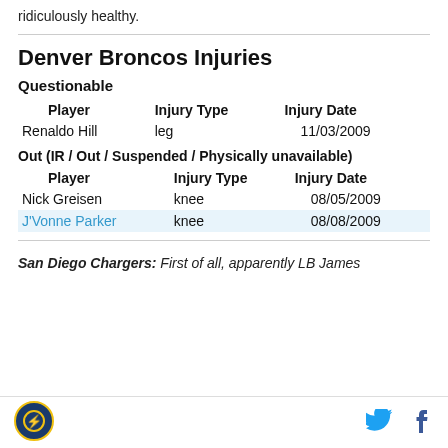ridiculously healthy.
Denver Broncos Injuries
Questionable
| Player | Injury Type | Injury Date |
| --- | --- | --- |
| Renaldo Hill | leg | 11/03/2009 |
Out (IR / Out / Suspended / Physically unavailable)
| Player | Injury Type | Injury Date |
| --- | --- | --- |
| Nick Greisen | knee | 08/05/2009 |
| J'Vonne Parker | knee | 08/08/2009 |
San Diego Chargers: First of all, apparently LB James
[Figure (logo): Site logo circular emblem]
[Figure (logo): Twitter bird icon]
[Figure (logo): Facebook f icon]